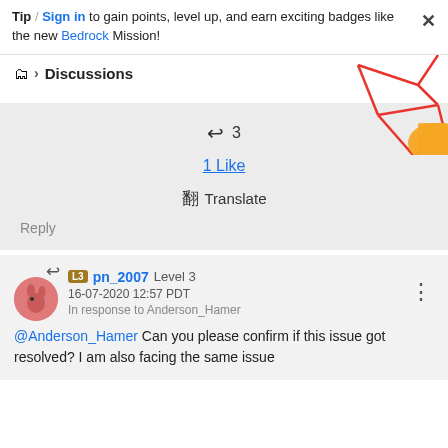Tip / Sign in to gain points, level up, and earn exciting badges like the new Bedrock Mission!
Discussions
[Figure (illustration): Decorative geometric red lines and orange shape in top right corner]
↩ 3
1 Like
🈯 Translate
Reply
↩ pn_2007 Level 3
16-07-2020 12:57 PDT
In response to Anderson_Hamer
@Anderson_Hamer Can you please confirm if this issue got resolved? I am also facing the same issue